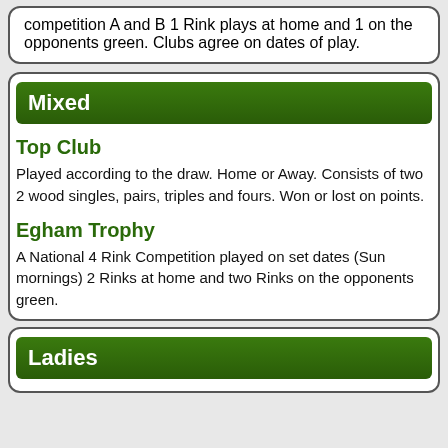competition A and B 1 Rink plays at home and 1 on the opponents green. Clubs agree on dates of play.
Mixed
Top Club
Played according to the draw. Home or Away. Consists of two 2 wood singles, pairs, triples and fours. Won or lost on points.
Egham Trophy
A National 4 Rink Competition played on set dates (Sun mornings) 2 Rinks at home and two Rinks on the opponents green.
Ladies